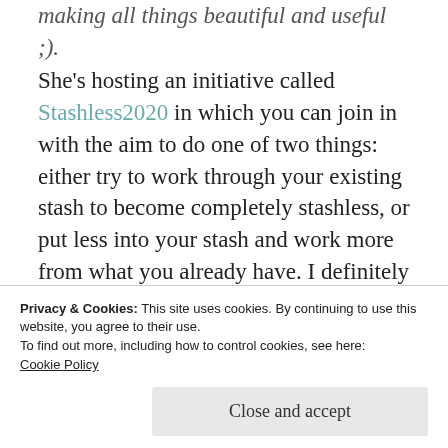making all things beautiful and useful ;). She's hosting an initiative called Stashless2020 in which you can join in with the aim to do one of two things: either try to work through your existing stash to become completely stashless, or put less into your stash and work more from what you already have. I definitely fall into the latter category – even if I had all the time in the world to knit this year, I wouldn't empty my stash – but I appreciate the encouragement provided by a group effort, and knowing there are others feeling the same. If you'd like to join...
Privacy & Cookies: This site uses cookies. By continuing to use this website, you agree to their use.
To find out more, including how to control cookies, see here:
Cookie Policy
Close and accept